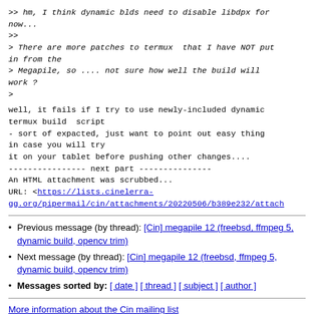>> hm, I think dynamic blds need to disable libdpx for now...
>>
> There are more patches to termux  that I have NOT put in from the
> Megapile, so .... not sure how well the build will work ?
>
well, it fails if I try to use newly-included dynamic termux build  script
- sort of expacted, just want to point out easy thing in case you will try
it on your tablet before pushing other changes....
---------------- next part ---------------
An HTML attachment was scrubbed...
URL: <https://lists.cinelerra-gg.org/pipermail/cin/attachments/20220506/b389e232/attach
Previous message (by thread): [Cin] megapile 12 (freebsd, ffmpeg 5, dynamic build, opencv trim)
Next message (by thread): [Cin] megapile 12 (freebsd, ffmpeg 5, dynamic build, opencv trim)
Messages sorted by: [ date ] [ thread ] [ subject ] [ author ]
More information about the Cin mailing list